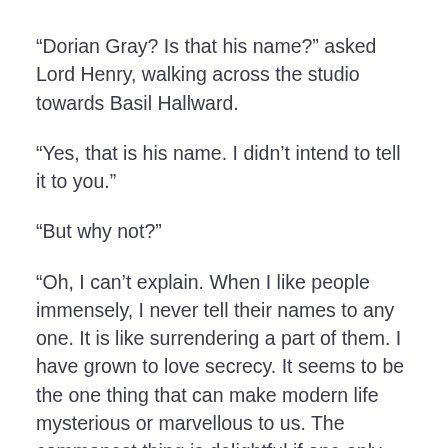“Dorian Gray? Is that his name?” asked Lord Henry, walking across the studio towards Basil Hallward.
“Yes, that is his name. I didn’t intend to tell it to you.”
“But why not?”
“Oh, I can’t explain. When I like people immensely, I never tell their names to any one. It is like surrendering a part of them. I have grown to love secrecy. It seems to be the one thing that can make modern life mysterious or marvellous to us. The commonest thing is delightful if one only hides it. When I leave town now I never tell my people where I am going. If I did, I would lose all my pleasure. It is a silly habit, I dare say, but somehow it seems to bring a great